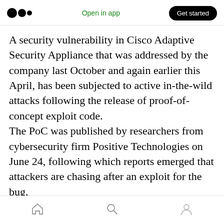Open in app  Get started
A security vulnerability in Cisco Adaptive Security Appliance that was addressed by the company last October and again earlier this April, has been subjected to active in-the-wild attacks following the release of proof-of-concept exploit code. The PoC was published by researchers from cybersecurity firm Positive Technologies on June 24, following which reports emerged that attackers are chasing after an exploit for the bug. Tracked as CVE-2020–3580 , the issue concerns